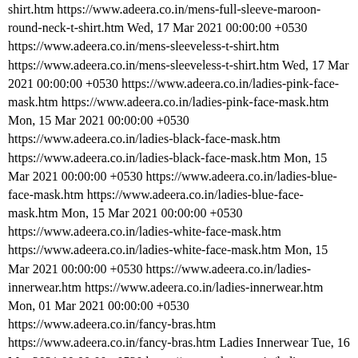shirt.htm https://www.adeera.co.in/mens-full-sleeve-maroon-round-neck-t-shirt.htm Wed, 17 Mar 2021 00:00:00 +0530 https://www.adeera.co.in/mens-sleeveless-t-shirt.htm https://www.adeera.co.in/mens-sleeveless-t-shirt.htm Wed, 17 Mar 2021 00:00:00 +0530 https://www.adeera.co.in/ladies-pink-face-mask.htm https://www.adeera.co.in/ladies-pink-face-mask.htm Mon, 15 Mar 2021 00:00:00 +0530 https://www.adeera.co.in/ladies-black-face-mask.htm https://www.adeera.co.in/ladies-black-face-mask.htm Mon, 15 Mar 2021 00:00:00 +0530 https://www.adeera.co.in/ladies-blue-face-mask.htm https://www.adeera.co.in/ladies-blue-face-mask.htm Mon, 15 Mar 2021 00:00:00 +0530 https://www.adeera.co.in/ladies-white-face-mask.htm https://www.adeera.co.in/ladies-white-face-mask.htm Mon, 15 Mar 2021 00:00:00 +0530 https://www.adeera.co.in/ladies-innerwear.htm https://www.adeera.co.in/ladies-innerwear.htm Mon, 01 Mar 2021 00:00:00 +0530 https://www.adeera.co.in/fancy-bras.htm https://www.adeera.co.in/fancy-bras.htm Ladies Innerwear Tue, 16 Mar 2021 00:00:00 +0530 https://www.adeera.co.in/ladies-camisoles.htm https://www.adeera.co.in/ladies-camisoles.htm Ladies Innerwear Tue, 16 Mar 2021 00:00:00 +0530 https://www.adeera.co.in/ladies-thermal-wear.htm https://www.adeera.co.in/ladies-thermal-wear.htm Ladies Innerwear Mon, 01 Mar 2021 00:00:00 +0530